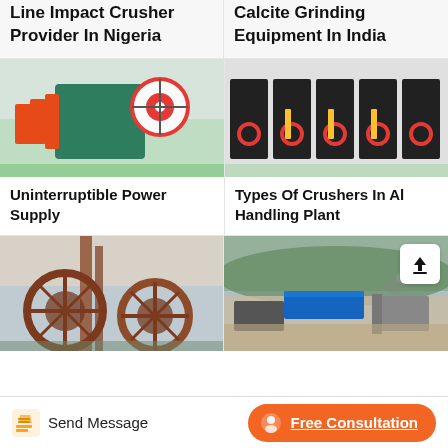Line Impact Crusher Provider In Nigeria
Calcite Grinding Equipment In India
[Figure (photo): Jaw crusher machine in a factory, green body with red flywheel]
Uninterruptible Power Supply
[Figure (photo): Multiple cone crusher machines lined up in a factory, black with red accents]
Types Of Crushers In Al Handling Plant
[Figure (photo): Rusty industrial wheel/sand washing machine outdoors]
[Figure (photo): Outdoor quarry/crushing plant with blue container and machinery]
Send Message
Free Consultation